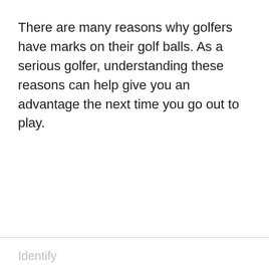There are many reasons why golfers have marks on their golf balls. As a serious golfer, understanding these reasons can help give you an advantage the next time you go out to play.
Identify